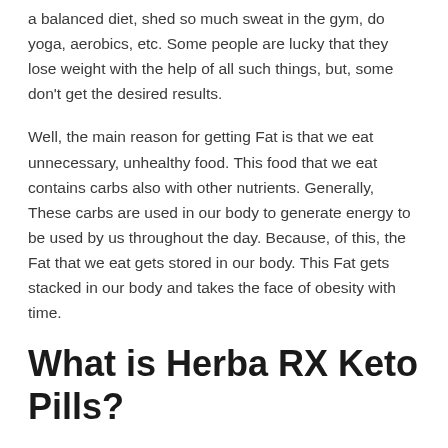a balanced diet, shed so much sweat in the gym, do yoga, aerobics, etc. Some people are lucky that they lose weight with the help of all such things, but, some don't get the desired results.
Well, the main reason for getting Fat is that we eat unnecessary, unhealthy food. This food that we eat contains carbs also with other nutrients. Generally, These carbs are used in our body to generate energy to be used by us throughout the day. Because, of this, the Fat that we eat gets stored in our body. This Fat gets stacked in our body and takes the face of obesity with time.
What is Herba RX Keto Pills?
Herba RX Keto Supplement is one that will help you in